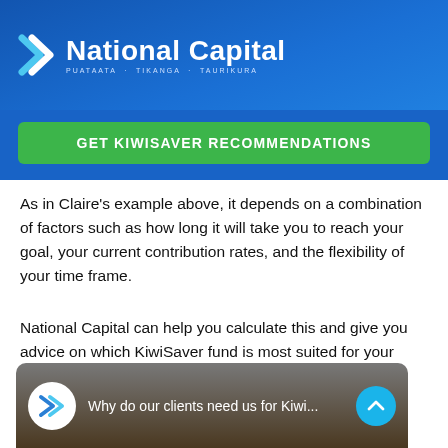National Capital — PUATAATA · TIKANGA · TAURIKURA
GET KIWISAVER RECOMMENDATIONS
As in Claire's example above, it depends on a combination of factors such as how long it will take you to reach your goal, your current contribution rates, and the flexibility of your time frame.
National Capital can help you calculate this and give you advice on which KiwiSaver fund is most suited for your personal circumstances.
[Figure (screenshot): Video thumbnail showing 'Why do our clients need us for Kiwi...' with National Capital logo icon and a person in the background]